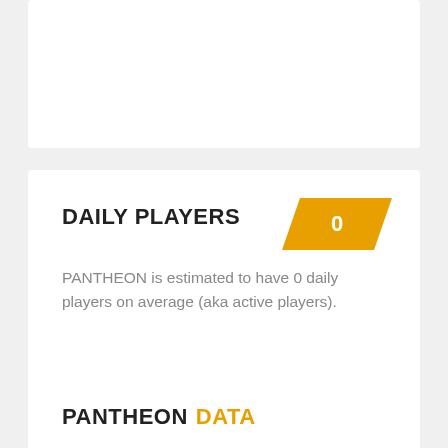DAILY PLAYERS
PANTHEON is estimated to have 0 daily players on average (aka active players).
PANTHEON DATA